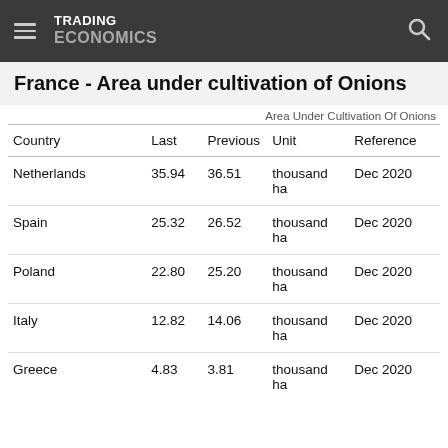TRADING ECONOMICS
France - Area under cultivation of Onions
Area Under Cultivation Of Onions
| Country | Last | Previous | Unit | Reference |
| --- | --- | --- | --- | --- |
| Netherlands | 35.94 | 36.51 | thousand ha | Dec 2020 |
| Spain | 25.32 | 26.52 | thousand ha | Dec 2020 |
| Poland | 22.80 | 25.20 | thousand ha | Dec 2020 |
| Italy | 12.82 | 14.06 | thousand ha | Dec 2020 |
| Greece | 4.83 | 3.81 | thousand ha | Dec 2020 |